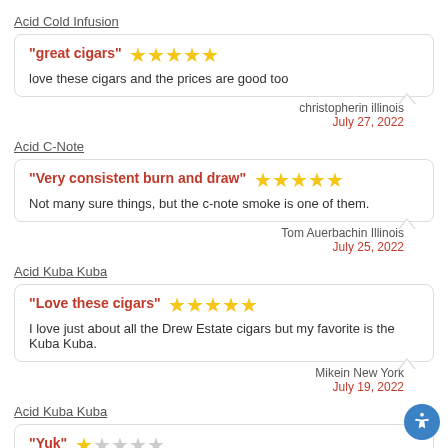Acid Cold Infusion
"great cigars" ★★★★★
love these cigars and the prices are good too
christopherin illinois
July 27, 2022
Acid C-Note
"Very consistent burn and draw" ★★★★★
Not many sure things, but the c-note smoke is one of them.
Tom Auerbachin Illinois
July 25, 2022
Acid Kuba Kuba
"Love these cigars" ★★★★★
I love just about all the Drew Estate cigars but my favorite is the Kuba Kuba.
Mikein New York
July 19, 2022
Acid Kuba Kuba
"Yuk" ★☆☆☆☆